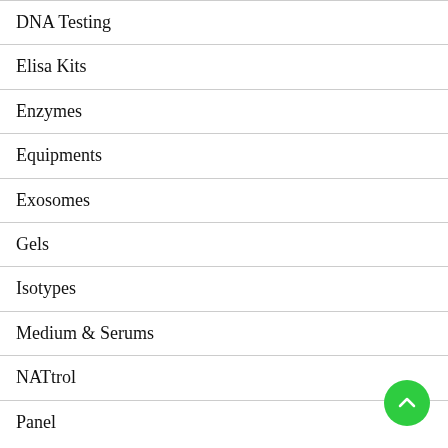DNA Testing
Elisa Kits
Enzymes
Equipments
Exosomes
Gels
Isotypes
Medium & Serums
NATtrol
Panel